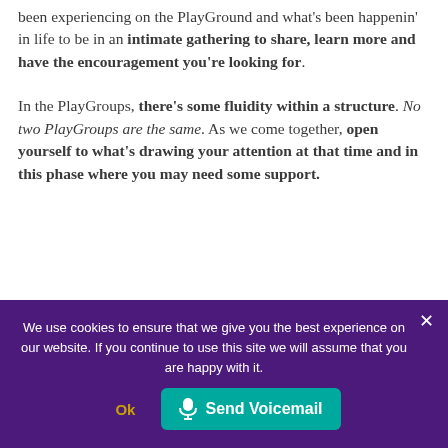been experiencing on the PlayGround and what's been happenin' in life to be in an intimate gathering to share, learn more and have the encouragement you're looking for.
In the PlayGroups, there's some fluidity within a structure. No two PlayGroups are the same. As we come together, open yourself to what's drawing your attention at that time and in this phase where you may need some support.
We use cookies to ensure that we give you the best experience on our website. If you continue to use this site we will assume that you are happy with it.
Ok
Send Voicemail